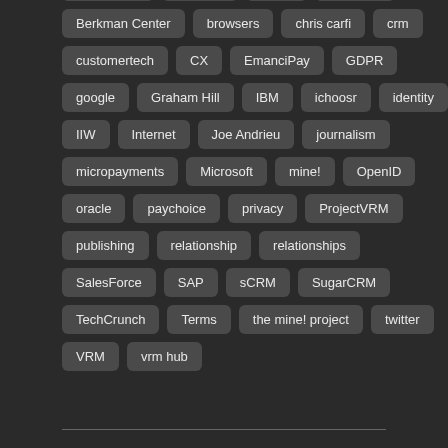Advertising
Amazon
Apple
Berkman
Berkman Center
browsers
chris carfi
crm
customertech
CX
EmanciPay
GDPR
google
Graham Hill
IBM
ichoosr
identity
IIW
Internet
Joe Andrieu
journalism
micropayments
Microsoft
mine!
OpenID
oracle
paychoice
privacy
ProjectVRM
publishing
relationship
relationships
SalesForce
SAP
sCRM
SugarCRM
TechCrunch
Terms
the mine! project
twitter
VRM
vrm hub